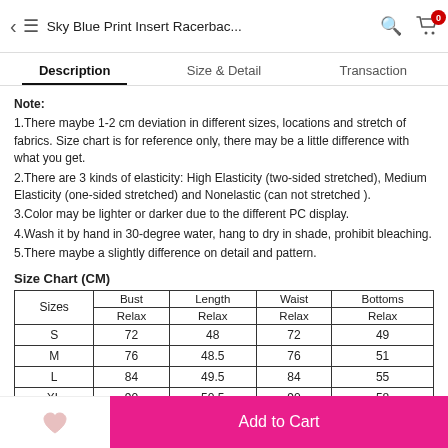Sky Blue Print Insert Racerbac...
Description | Size & Detail | Transaction
Note:
1.There maybe 1-2 cm deviation in different sizes, locations and stretch of fabrics. Size chart is for reference only, there may be a little difference with what you get.
2.There are 3 kinds of elasticity: High Elasticity (two-sided stretched), Medium Elasticity (one-sided stretched) and Nonelastic (can not stretched ).
3.Color may be lighter or darker due to the different PC display.
4.Wash it by hand in 30-degree water, hang to dry in shade, prohibit bleaching.
5.There maybe a slightly difference on detail and pattern.
Size Chart (CM)
| Sizes | Bust Relax | Length Relax | Waist Relax | Bottoms Relax |
| --- | --- | --- | --- | --- |
| S | 72 | 48 | 72 | 49 |
| M | 76 | 48.5 | 76 | 51 |
| L | 84 | 49.5 | 84 | 55 |
| XL | 90 | 50.5 | 90 | 58 |
| 2XL | 96 | 51.5 | 96 | 61 |
| Elasticity |  | High |  |  |